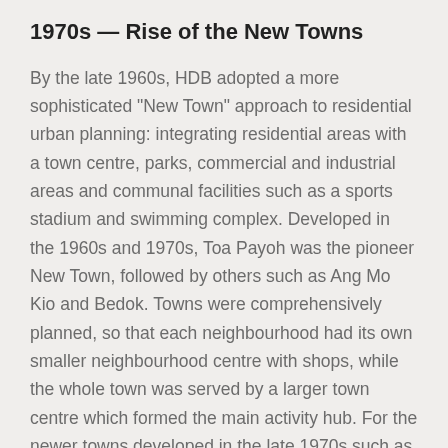1970s — Rise of the New Towns
By the late 1960s, HDB adopted a more sophisticated "New Town" approach to residential urban planning: integrating residential areas with a town centre, parks, commercial and industrial areas and communal facilities such as a sports stadium and swimming complex. Developed in the 1960s and 1970s, Toa Payoh was the pioneer New Town, followed by others such as Ang Mo Kio and Bedok. Towns were comprehensively planned, so that each neighbourhood had its own smaller neighbourhood centre with shops, while the whole town was served by a larger town centre which formed the main activity hub. For the newer towns developed in the late 1970s such as Yishun and Bukit Batok, HDB incorporated additional design factors such as scale, street architecture and natural landscaping. Open